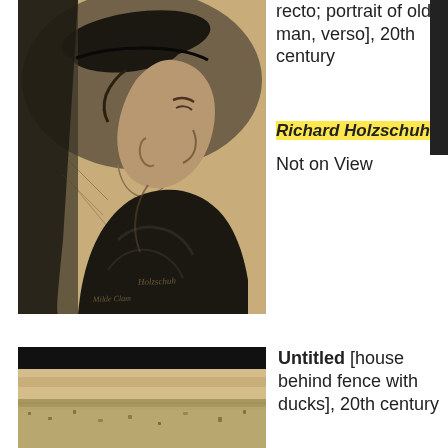[Figure (illustration): Charcoal portrait drawing of an old man wearing a flat cap, in profile facing left, signed 'Holzschuh' and 'Milde Clam' at bottom. Sketch on tan/beige paper.]
recto; portrait of old man, verso], 20th century
Richard Holzschuh
Not on View
[Figure (photo): Partial view of an artwork showing horizontal bands: dark band at top, light tan band in middle, and a textured lower section.]
Untitled [house behind fence with ducks], 20th century